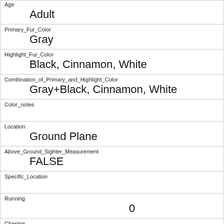| Field | Value |
| --- | --- |
| Age | Adult |
| Primary_Fur_Color | Gray |
| Highlight_Fur_Color | Black, Cinnamon, White |
| Combination_of_Primary_and_Highlight_Color | Gray+Black, Cinnamon, White |
| Color_notes |  |
| Location | Ground Plane |
| Above_Ground_Sighter_Measurement | FALSE |
| Specific_Location |  |
| Running | 0 |
| Chasing | 0 |
| Climbing |  |